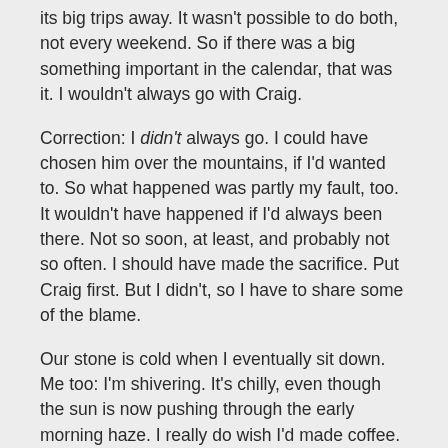its big trips away. It wasn't possible to do both, not every weekend. So if there was a big something important in the calendar, that was it. I wouldn't always go with Craig.
Correction: I didn't always go. I could have chosen him over the mountains, if I'd wanted to. So what happened was partly my fault, too. It wouldn't have happened if I'd always been there. Not so soon, at least, and probably not so often. I should have made the sacrifice. Put Craig first. But I didn't, so I have to share some of the blame.
Our stone is cold when I eventually sit down. Me too: I'm shivering. It's chilly, even though the sun is now pushing through the early morning haze. I really do wish I'd made coffee.
It didn't come as a surprise when I found out. You don't get unsexy DJs, do you? Even when they're a bit overweight, like Craig. Drugs, music, girls, that's what it's all about, isn't